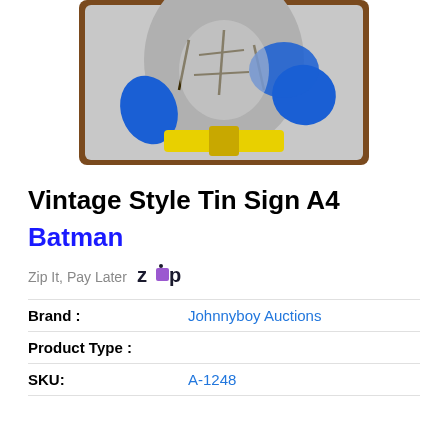[Figure (illustration): Partial view of a Batman vintage style tin sign showing a comic-style illustration with gray, blue, and yellow colors. The image is cropped at the top showing the lower portion of the artwork with a brown border.]
Vintage Style Tin Sign A4
Batman
Zip It, Pay Later  ZIP
Brand :   Johnnyboy Auctions
Product Type :
SKU:   A-1248